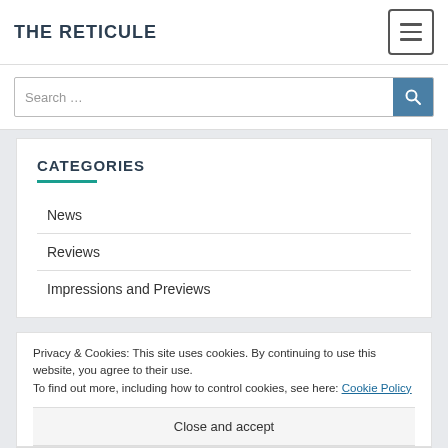THE RETICULE
Search …
CATEGORIES
News
Reviews
Impressions and Previews
Privacy & Cookies: This site uses cookies. By continuing to use this website, you agree to their use. To find out more, including how to control cookies, see here: Cookie Policy
Close and accept